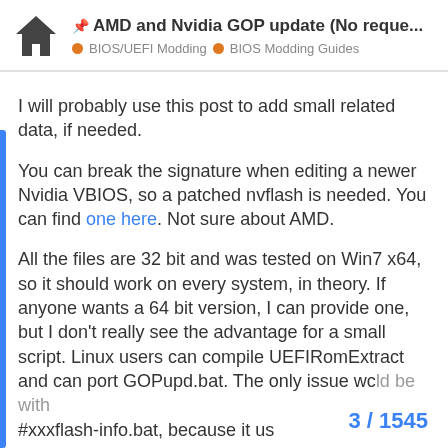📌 AMD and Nvidia GOP update (No reque... | BIOS/UEFI Modding | BIOS Modding Guides
I will probably use this post to add small related data, if needed.
You can break the signature when editing a newer Nvidia VBIOS, so a patched nvflash is needed. You can find one here. Not sure about AMD.
All the files are 32 bit and was tested on Win7 x64, so it should work on every system, in theory. If anyone wants a 64 bit version, I can provide one, but I don't really see the advantage for a small script. Linux users can compile UEFIRomExtract and can port GOPupd.bat. The only issue wc ld be with #xxxflash-info.bat, because it us
3 / 1545